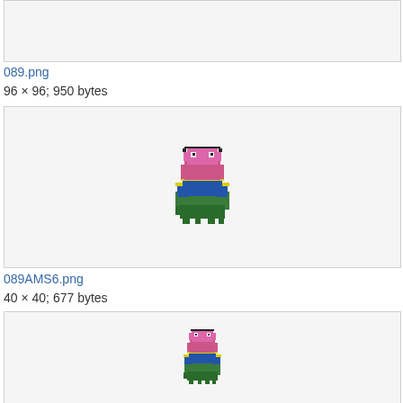[Figure (photo): Partial top image box, cropped at top of page]
089.png
96 × 96; 950 bytes
[Figure (photo): Pixel art sprite of a Pokemon (Muk) - colorful creature with green, blue, yellow, and pink colors on a light gray background]
089AMS6.png
40 × 40; 677 bytes
[Figure (photo): Pixel art sprite of a smaller version of same Pokemon (Muk) - colorful creature with green, blue, yellow, and pink colors on a light gray background]